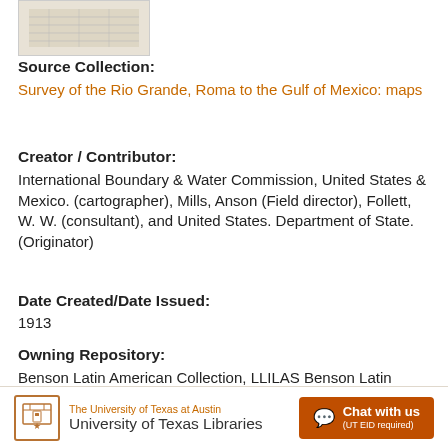[Figure (illustration): Thumbnail image of a map document, showing faint lines on a beige/cream background]
Source Collection:
Survey of the Rio Grande, Roma to the Gulf of Mexico: maps
Creator / Contributor:
International Boundary & Water Commission, United States & Mexico. (cartographer), Mills, Anson (Field director), Follett, W. W. (consultant), and United States. Department of State. (Originator)
Date Created/Date Issued:
1913
Owning Repository:
Benson Latin American Collection, LLILAS Benson Latin American Studies and Collections, The University of Texas at Austin
The University of Texas at Austin University of Texas Libraries  Chat with us (UT EID required)